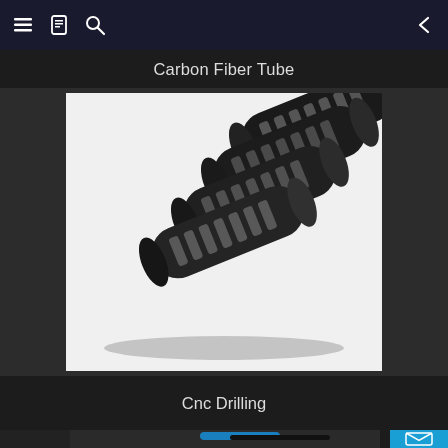Carbon Fiber Tube
[Figure (photo): Four black carbon fiber tubes with rectangular CNC-drilled holes arranged diagonally on a white background]
Cnc Drilling
[Figure (photo): Partial view of blue and black carbon fiber tubes/rods at bottom of page]